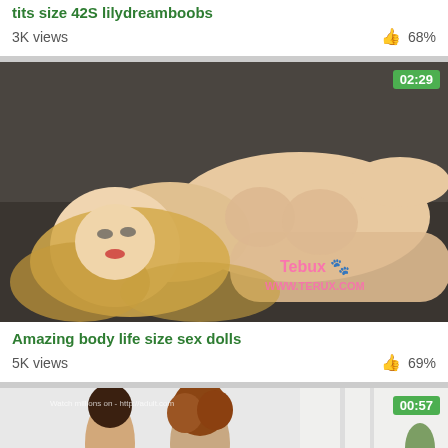tits size 42S lilydreamboobs
3K views   👍 68%
[Figure (screenshot): Thumbnail of video showing a blonde sex doll lying down, duration badge 02:29, watermark Tebux WWW.TERUX.COM]
Amazing body life size sex dolls
5K views   👍 69%
[Figure (screenshot): Partial thumbnail of a video showing two people in a room, duration badge 00:57, partial watermark text visible]